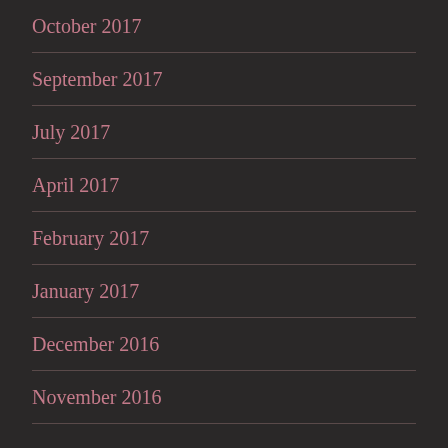October 2017
September 2017
July 2017
April 2017
February 2017
January 2017
December 2016
November 2016